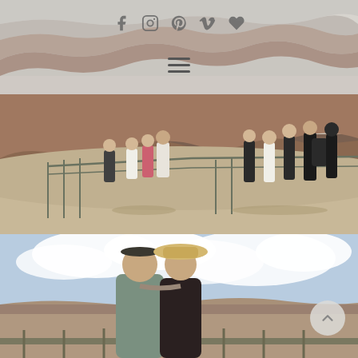[Figure (photo): Website header with canyon landscape background, social media icons (Facebook, Instagram, Pinterest, Vimeo, heart/favorites), and a hamburger menu icon]
[Figure (photo): Tourists at a canyon overlook/observation deck with metal railing fencing, red rocky canyon walls in background, multiple people walking and standing]
[Figure (photo): Couple at canyon overlook, man in grey t-shirt and woman in hat with canyon and cloudy sky in background, with a circular back-to-top button in lower right]